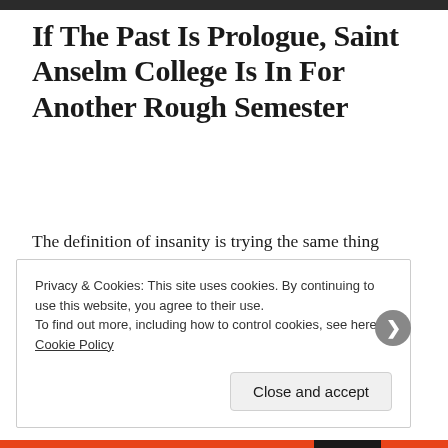If The Past Is Prologue, Saint Anselm College Is In For Another Rough Semester
The definition of insanity is trying the same thing over and over again and expecting a different result. Some of the current policies at Saint Anselm College are the epitome of that tried failure.
Privacy & Cookies: This site uses cookies. By continuing to use this website, you agree to their use.
To find out more, including how to control cookies, see here: Cookie Policy